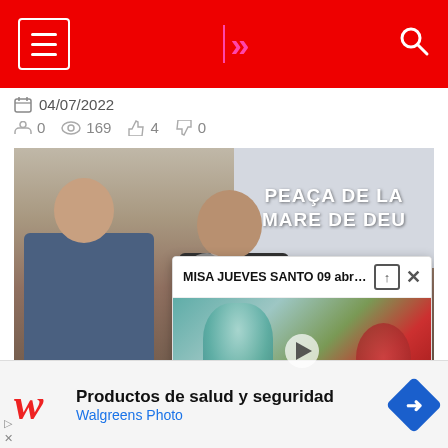Navigation header with hamburger menu, logo (double arrows), and search icon on red background
04/07/2022
0  169  4  0
[Figure (screenshot): Video player showing two men seated at a table with a projection screen behind them showing 'PEAÇA DE LA MARE DE DEU'. A popup card overlays with title 'MISA JUEVES SANTO 09 abril...' and a thumbnail. Video timecode shows :33.]
[Figure (screenshot): Advertisement banner for Walgreens Photo: 'Productos de salud y seguridad' with Walgreens cursive W logo in red and a blue diamond navigation arrow icon.]